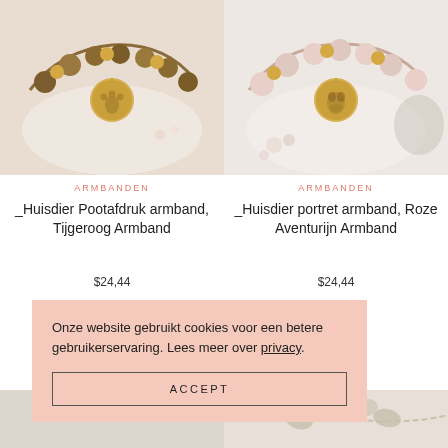[Figure (photo): Product photo of a bracelet with tiger eye beads and gold paw print charm pendant]
[Figure (photo): Product photo of a bracelet with rose aventurine beads and gold French bulldog portrait charm]
ARMBANDEN
_Huisdier Pootafdruk armband, Tijgeroog Armband
$24,44
ARMBANDEN
_Huisdier portret armband, Roze Aventurijn Armband
$24,44
Onze website gebruikt cookies voor een betere gebruikerservaring. Lees meer over privacy.
ACCEPT
[Figure (photo): Partial view of jewelry products at the bottom of the page - butterfly/cat shaped charms on chain bracelet]